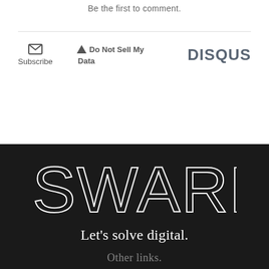Be the first to comment.
Subscribe
Do Not Sell My Data
DISQUS
[Figure (logo): SWARM logo in large white thin letterforms on dark background]
Let's solve digital.
Other links.
Experiments